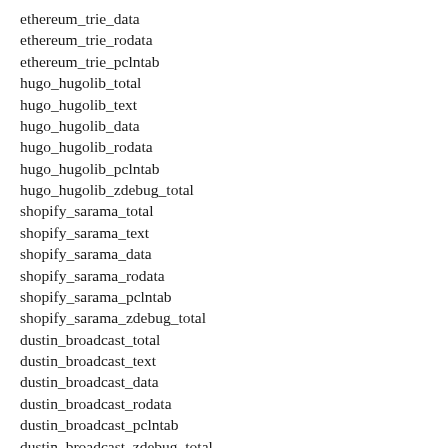ethereum_trie_data
ethereum_trie_rodata
ethereum_trie_pclntab
hugo_hugolib_total
hugo_hugolib_text
hugo_hugolib_data
hugo_hugolib_rodata
hugo_hugolib_pclntab
hugo_hugolib_zdebug_total
shopify_sarama_total
shopify_sarama_text
shopify_sarama_data
shopify_sarama_rodata
shopify_sarama_pclntab
shopify_sarama_zdebug_total
dustin_broadcast_total
dustin_broadcast_text
dustin_broadcast_data
dustin_broadcast_rodata
dustin_broadcast_pclntab
dustin_broadcast_zdebug_total
ajstarks_deck_generate_total
ajstarks_deck_generate_text